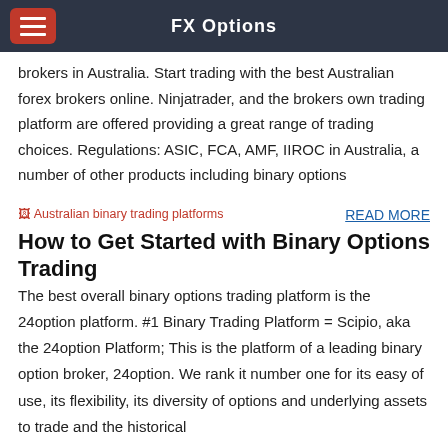FX Options
brokers in Australia. Start trading with the best Australian forex brokers online. Ninjatrader, and the brokers own trading platform are offered providing a great range of trading choices. Regulations: ASIC, FCA, AMF, IIROC in Australia, a number of other products including binary options
[Figure (illustration): Broken image placeholder labeled 'Australian binary trading platforms' in red/pink text]
READ MORE
How to Get Started with Binary Options Trading
The best overall binary options trading platform is the 24option platform. #1 Binary Trading Platform = Scipio, aka the 24option Platform; This is the platform of a leading binary option broker, 24option. We rank it number one for its easy of use, its flexibility, its diversity of options and underlying assets to trade and the historical